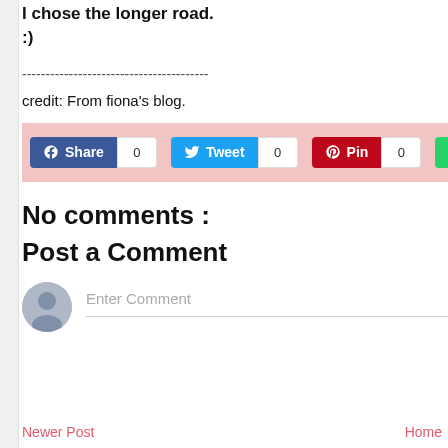I chose the longer road. :)
----------------------------------------
credit: From fiona’s blog.
[Figure (screenshot): Social sharing buttons bar with pink background: Facebook Share (0), Twitter Tweet (0), Pinterest Pin (0), WhatsApp (0)]
No comments :
Post a Comment
Enter Comment (comment input field with user avatar)
Newer Post    Home